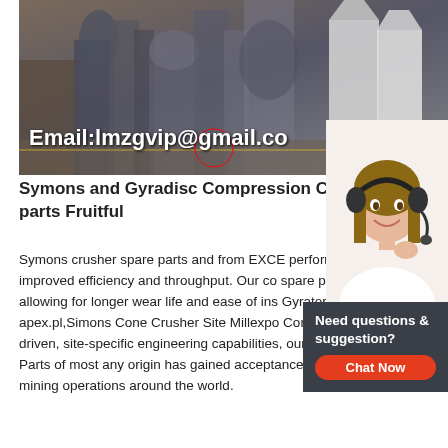[Figure (photo): Industrial factory floor with large crushing machinery and equipment. Overlay text reads 'Email:lmzgvip@gmail.co' with a red circle marker.]
Symons and Gyradisc Compression C parts Fruitful
Symons crusher spare parts and from EXCE performance parts have a longer wear life a improved efficiency and throughput. Our co spare parts are improved over OEM standar allowing for longer wear life and ease of ins Gyratory crushers.crusher simons cone hurtownia-apex.pl,Simons Cone Crusher Site Millexpo Com stellasports.co.za. Through our application-driven, site-specific engineering capabilities, our offering of replacement 5-1/2″ Cone Crusher Parts of most any origin has gained acceptance and earned the confidence of aggregate and mining operations around the world.